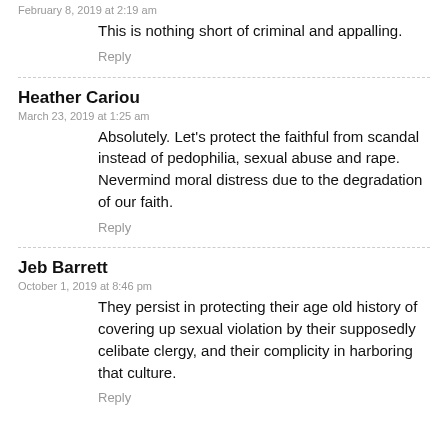February 8, 2019 at 2:19 am
This is nothing short of criminal and appalling.
Reply
Heather Cariou
March 23, 2019 at 1:25 am
Absolutely. Let's protect the faithful from scandal instead of pedophilia, sexual abuse and rape. Nevermind moral distress due to the degradation of our faith.
Reply
Jeb Barrett
October 1, 2019 at 8:46 pm
They persist in protecting their age old history of covering up sexual violation by their supposedly celibate clergy, and their complicity in harboring that culture.
Reply